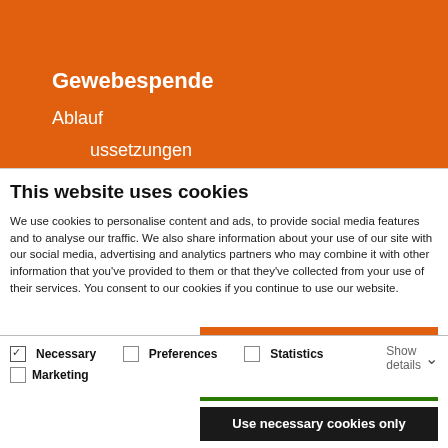[Figure (screenshot): Orange website header showing navigation items: Gewebespende, Ablauf, ussetzungen]
This website uses cookies
We use cookies to personalise content and ads, to provide social media features and to analyse our traffic. We also share information about your use of our site with our social media, advertising and analytics partners who may combine it with other information that you've provided to them or that they've collected from your use of their services. You consent to our cookies if you continue to use our website.
Allow all cookies
Allow selection
Use necessary cookies only
Necessary  Preferences  Statistics  Marketing  Show details